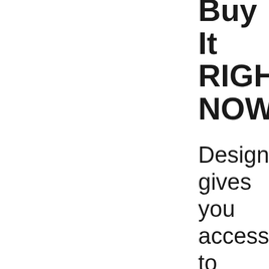Buy It RIGHT NOW?
DesignBeast gives you access to SIX groundbreaking apps for the price of